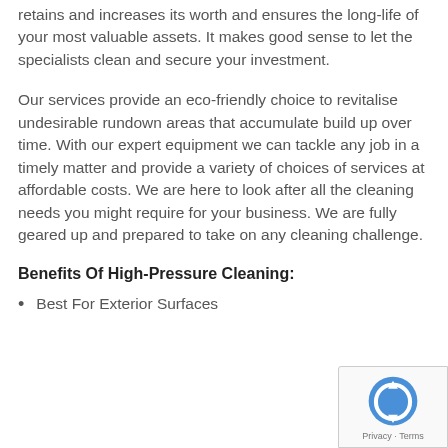retains and increases its worth and ensures the long-life of your most valuable assets. It makes good sense to let the specialists clean and secure your investment.
Our services provide an eco-friendly choice to revitalise undesirable rundown areas that accumulate build up over time. With our expert equipment we can tackle any job in a timely matter and provide a variety of choices of services at affordable costs. We are here to look after all the cleaning needs you might require for your business. We are fully geared up and prepared to take on any cleaning challenge.
Benefits Of High-Pressure Cleaning:
Best For Exterior Surfaces